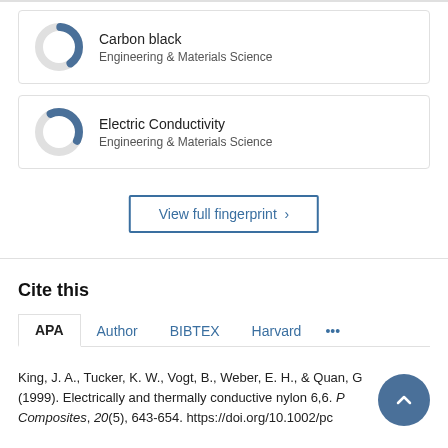[Figure (donut-chart): Donut chart showing partial fill in blue, Engineering & Materials Science]
[Figure (donut-chart): Donut chart showing partial fill in blue, Engineering & Materials Science]
View full fingerprint >
Cite this
APA  Author  BIBTEX  Harvard  ...
King, J. A., Tucker, K. W., Vogt, B., Weber, E. H., & Quan, G (1999). Electrically and thermally conductive nylon 6,6. P Composites, 20(5), 643-654. https://doi.org/10.1002/pc